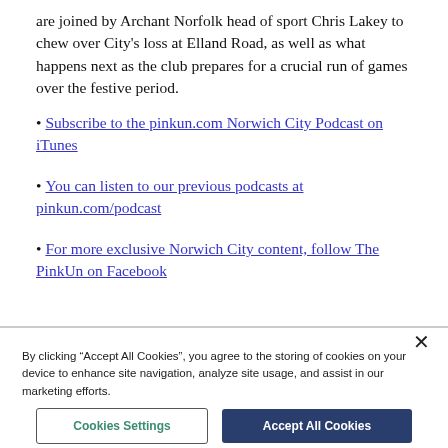are joined by Archant Norfolk head of sport Chris Lakey to chew over City's loss at Elland Road, as well as what happens next as the club prepares for a crucial run of games over the festive period.
Subscribe to the pinkun.com Norwich City Podcast on iTunes
You can listen to our previous podcasts at pinkun.com/podcast
For more exclusive Norwich City content, follow The PinkUn on Facebook
By clicking “Accept All Cookies”, you agree to the storing of cookies on your device to enhance site navigation, analyze site usage, and assist in our marketing efforts.
Cookies Settings
Accept All Cookies